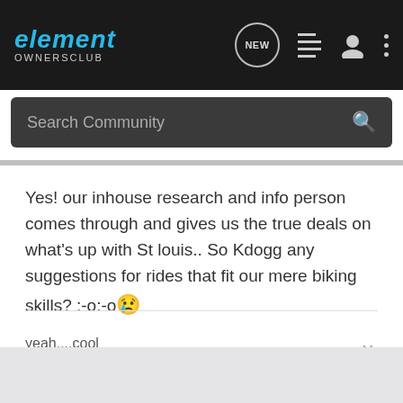element OWNERSCLUB — navigation bar with logo, NEW button, list icon, person icon, more icon
Search Community
Yes! our inhouse research and info person comes through and gives us the true deals on what's up with St louis.. So Kdogg any suggestions for rides that fit our mere biking skills? :-o:-o 😢
yeah....cool